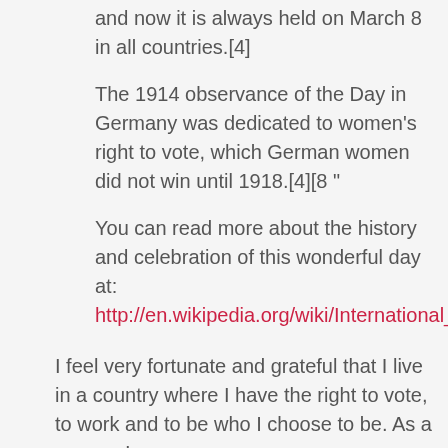because that day was a Sunday, and now it is always held on March 8 in all countries.[4]
The 1914 observance of the Day in Germany was dedicated to women's right to vote, which German women did not win until 1918.[4][8 "
You can read more about the history and celebration of this wonderful day at: http://en.wikipedia.org/wiki/International_Wome
I feel very fortunate and grateful that I live in a country where I have the right to vote, to work and to be who I choose to be. As a woman I